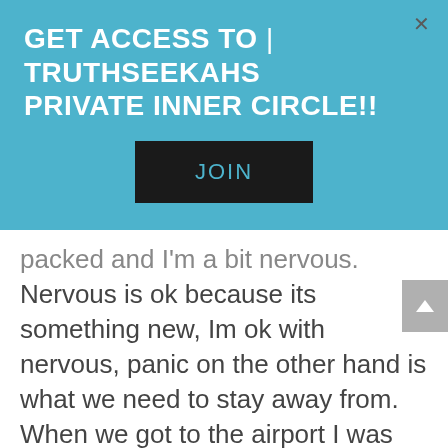GET ACCESS TO | TRUTHSEEKAHS PRIVATE INNER CIRCLE!!
JOIN
packed and I'm a bit nervous. Nervous is ok because its something new, Im ok with nervous, panic on the other hand is what we need to stay away from. When we got to the airport I was feeling good. We made it through TSA which also was a new experience and then made it past security to be seated by our terminal.